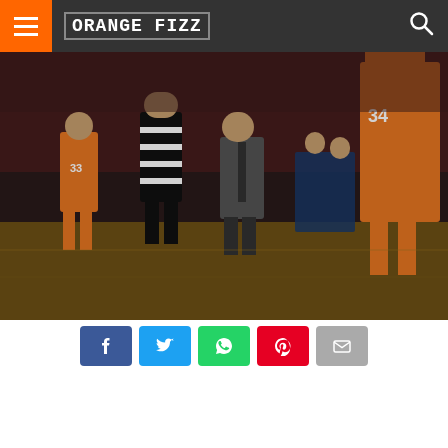ORANGE FIZZ
[Figure (photo): Basketball coach Jim Boeheim in a suit on the court, Syracuse players in orange jerseys (numbers 33 and 34), a referee in striped shirt, and coaching staff on the sideline during a game.]
Social share buttons: Facebook, Twitter, WhatsApp, Pinterest, Email